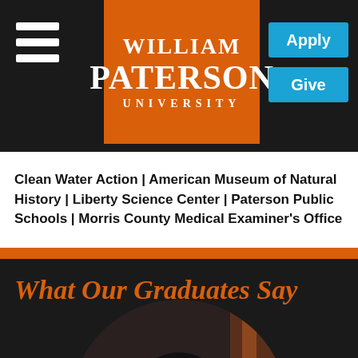William Paterson University
Clean Water Action | American Museum of Natural History | Liberty Science Center | Paterson Public Schools | Morris County Medical Examiner’s Office
What Our Graduates Say
[Figure (photo): Circular cropped portrait photo of a graduate with natural curly hair, set against a dark background]